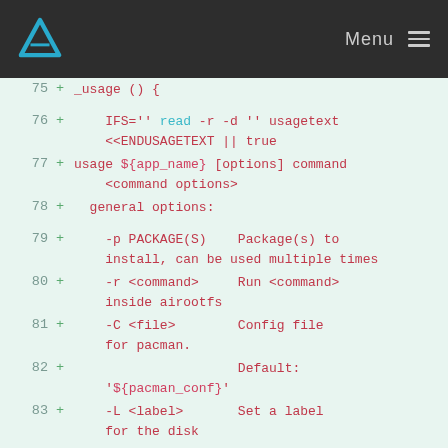Menu
[Figure (screenshot): Code diff view showing lines 75-86 of a shell script with additions (+) in a light green background. Lines show a _usage() function with IFS, read, usage text, and option descriptions for -p, -r, -C, -L, -P flags.]